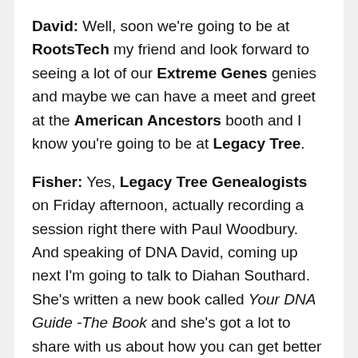David: Well, soon we're going to be at RootsTech my friend and look forward to seeing a lot of our Extreme Genes genies and maybe we can have a meet and greet at the American Ancestors booth and I know you're going to be at Legacy Tree.
Fisher: Yes, Legacy Tree Genealogists on Friday afternoon, actually recording a session right there with Paul Woodbury. And speaking of DNA David, coming up next I'm going to talk to Diahan Southard. She's written a new book called Your DNA Guide -The Book and she's got a lot to share with us about how you can get better at your genetic genealogy. It's on the way in